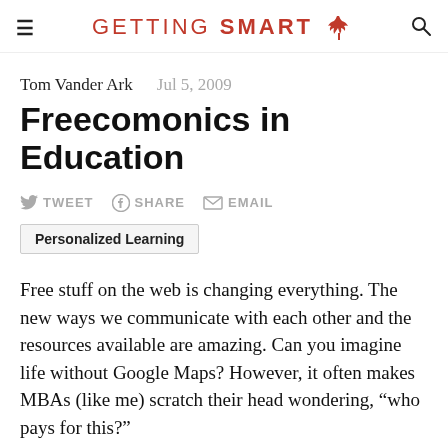GETTING SMART
Tom Vander Ark   Jul 5, 2009
Freecomonics in Education
TWEET   SHARE   EMAIL
Personalized Learning
Free stuff on the web is changing everything. The new ways we communicate with each other and the resources available are amazing. Can you imagine life without Google Maps? However, it often makes MBAs (like me) scratch their head wondering, “who pays for this?”